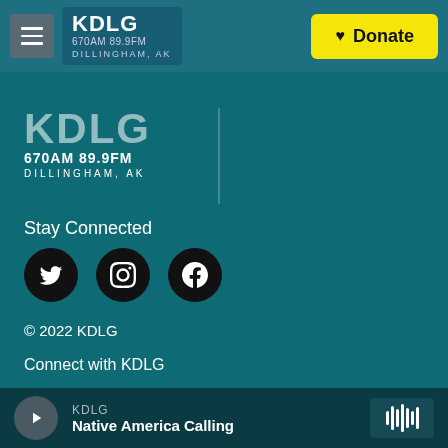KDLG 670AM 89.9FM DILLINGHAM, AK — Donate
[Figure (logo): KDLG radio station logo with 670AM 89.9FM DILLINGHAM, AK text]
Stay Connected
[Figure (infographic): Social media icons: Twitter, Instagram, Facebook (black circles)]
© 2022 KDLG
Connect with KDLG
Public Files | AM 670
Public Files | 89.9 FM
KDLG — Native America Calling (player bar)